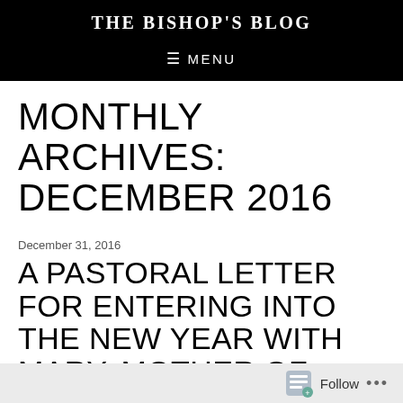THE BISHOP'S BLOG
≡  MENU
MONTHLY ARCHIVES: DECEMBER 2016
December 31, 2016
A PASTORAL LETTER FOR ENTERING INTO THE NEW YEAR WITH MARY, MOTHER OF GOD